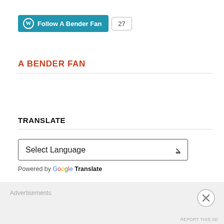[Figure (screenshot): WordPress Follow button for 'A Bender Fan' with follower count badge showing 27]
A BENDER FAN
TRANSLATE
[Figure (screenshot): Google Translate widget with 'Select Language' dropdown]
Powered by Google Translate
Advertisements
[Figure (screenshot): Orange advertisement banner]
Advertisements